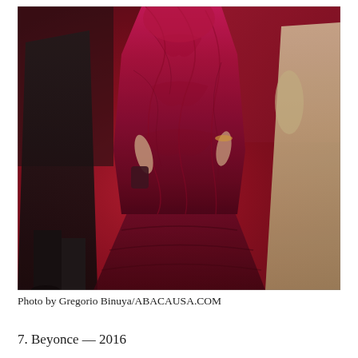[Figure (photo): A woman in a deep magenta/burgundy floor-length gown with a train, standing on a red carpet. She holds a small clutch. A figure in black is visible to the left and a figure in a light/cream gown is partially visible to the right. The background features the red carpet and dark red backdrop.]
Photo by Gregorio Binuya/ABACAUSA.COM
7. Beyonce — 2016